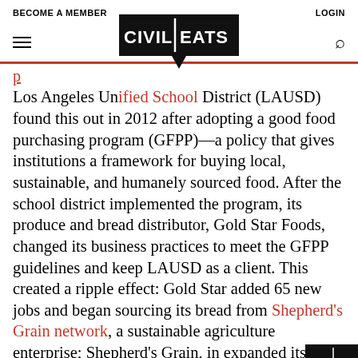BECOME A MEMBER    LOGIN
[Figure (logo): Civil Eats logo — bold black speech-bubble style logo with white text reading CIVIL EATS]
Los Angeles Unified School District (LAUSD) found this out in 2012 after adopting a good food purchasing program (GFPP)—a policy that gives institutions a framework for buying local, sustainable, and humanely sourced food. After the school district implemented the program, its produce and bread distributor, Gold Star Foods, changed its business practices to meet the GFPP guidelines and keep LAUSD as a client. This created a ripple effect: Gold Star added 65 new jobs and began sourcing its bread from Shepherd's Grain network, a sustainable agriculture enterprise; Shepherd's Grain, in expanded its network of more than 40 wheat